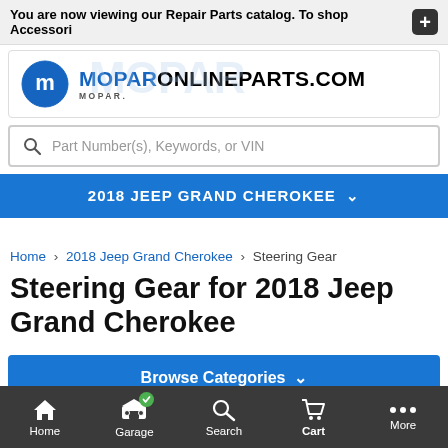You are now viewing our Repair Parts catalog. To shop Accessori
[Figure (logo): Mopar logo (blue circle with M) and MOPARONLINEPARTS.COM wordmark]
Part Number(s), Keywords, or VIN
2018 JEEP GRAND CHEROKEE
Home > 2018 Jeep Grand Cherokee > Steering Gear
Steering Gear for 2018 Jeep Grand Cherokee
Browse Categories
Home  Garage  Search  Cart  More